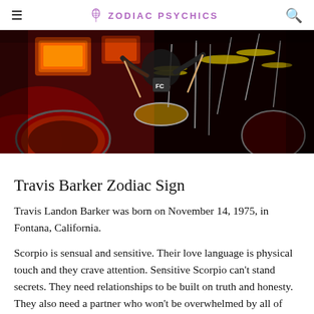Zodiac Psychics
[Figure (photo): Travis Barker playing drums on stage with red and orange stage lighting, cymbal stands and drum kit visible, performer wearing a black sleeveless shirt showing tattoos]
Travis Barker Zodiac Sign
Travis Landon Barker was born on November 14, 1975, in Fontana, California.
Scorpio is sensual and sensitive. Their love language is physical touch and they crave attention. Sensitive Scorpio can't stand secrets. They need relationships to be built on truth and honesty. They also need a partner who won't be overwhelmed by all of